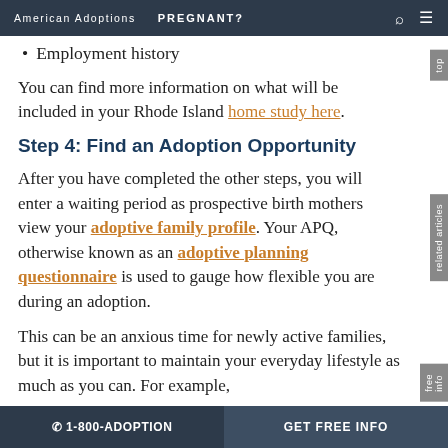American Adoptions   PREGNANT?
Employment history
You can find more information on what will be included in your Rhode Island home study here.
Step 4: Find an Adoption Opportunity
After you have completed the other steps, you will enter a waiting period as prospective birth mothers view your adoptive family profile. Your APQ, otherwise known as an adoptive planning questionnaire is used to gauge how flexible you are during an adoption.
This can be an anxious time for newly active families, but it is important to maintain your everyday lifestyle as much as you can. For example,
☎ 1-800-ADOPTION   GET FREE INFO